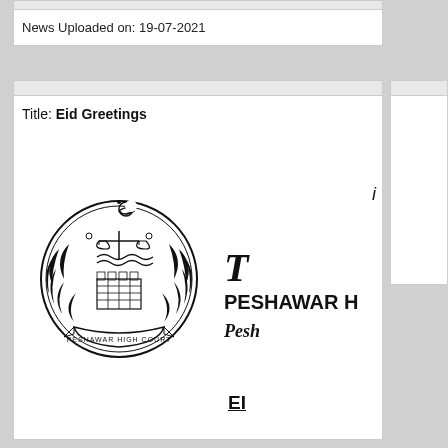News Uploaded on: 19-07-2021
Title: Eid Greetings
[Figure (logo): Peshawar High Court official seal/crest featuring scales of justice, crescent moon, wreath, and the text 'PESHAWAR HIGH COURT' on a banner]
T
PESHAWAR H
Pesh
EI